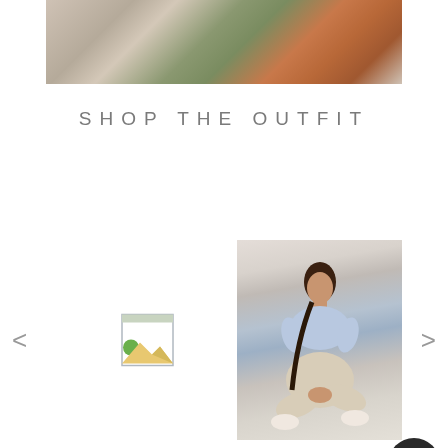[Figure (photo): Top banner photo showing a person holding a brown leather tote bag, wearing olive green, with a floral blurred background]
SHOP THE OUTFIT
[Figure (other): Carousel navigation area with left arrow, a broken/placeholder image icon in the center-left, a model photo on the right showing a woman seated cross-legged wearing a light blue top and beige pants with white shoes, and right arrow. A dark circular scroll-to-top button is in the bottom right corner.]